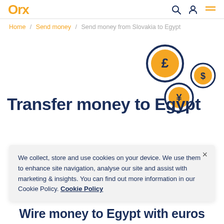OFX
Home / Send money / Send money from Slovakia to Egypt
[Figure (illustration): Decorative illustration with three currency coin icons: a large circle with pound sterling symbol, a smaller circle with dollar sign, and a medium circle with yen symbol, arranged in a floating pattern on white background.]
Transfer money to Egypt
We collect, store and use cookies on your device. We use them to enhance site navigation, analyse our site and assist with marketing & insights. You can find out more information in our Cookie Policy. Cookie Policy
Wire money to Egypt with euros